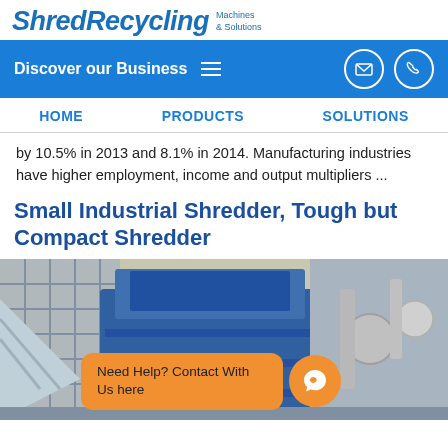ShredRecycling Machines & Solutions
Discover our Business
HOME
PRODUCTS
SOLUTIONS
by 10.5% in 2013 and 8.1% in 2014. Manufacturing industries have higher employment, income and output multipliers ...
Small Industrial Shredder, Tough but Compact Shredder
[Figure (photo): Industrial shredder machine in a factory setting, with large blue hopper and mechanical equipment, orange chat widget overlay]
Need Help? Contact With Us here